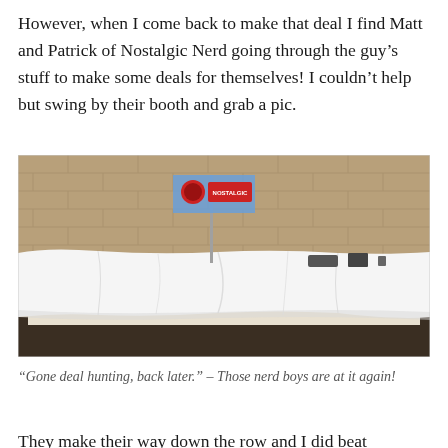However, when I come back to make that deal I find Matt and Patrick of Nostalgic Nerd going through the guy's stuff to make some deals for themselves! I couldn't help but swing by their booth and grab a pic.
[Figure (photo): A convention booth table covered with a white sheet/tablecloth, with a small banner on a pole in the center background. The banner shows a red circular logo. The setting is a hall with a tan brick wall in the background. Various dark objects are visible on the table behind the sheet.]
“Gone deal hunting, back later.” – Those nerd boys are at it again!
They make their way down the row and I did beat